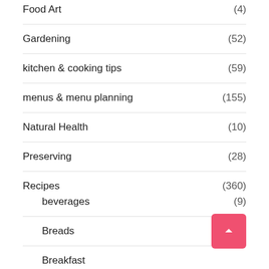Food Art (4)
Gardening (52)
kitchen & cooking tips (59)
menus & menu planning (155)
Natural Health (10)
Preserving (28)
Recipes (360)
beverages (9)
Breads (41)
Breakfast
Desserts (85)